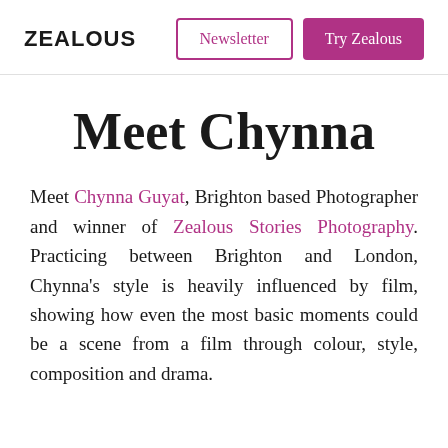ZEALOUS | Newsletter | Try Zealous
Meet Chynna
Meet Chynna Guyat, Brighton based Photographer and winner of Zealous Stories Photography. Practicing between Brighton and London, Chynna's style is heavily influenced by film, showing how even the most basic moments could be a scene from a film through colour, style, composition and drama.